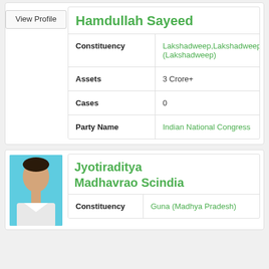[Figure (other): View Profile button for Hamdullah Sayeed]
| Hamdullah Sayeed |  |
| Constituency | Lakshadweep,Lakshadweep (Lakshadweep) |
| Assets | 3 Crore+ |
| Cases | 0 |
| Party Name | Indian National Congress |
[Figure (photo): Photo of Jyotiraditya Madhavrao Scindia]
| Jyotiraditya Madhavrao Scindia |  |
| Constituency | Guna (Madhya Pradesh) |